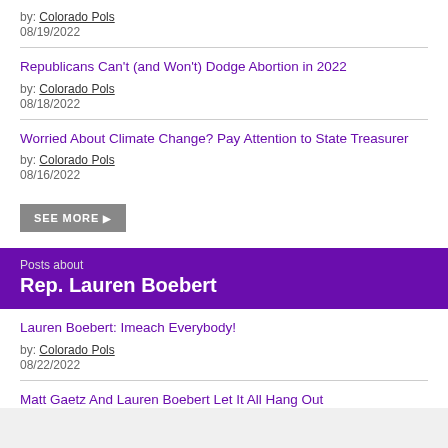by: Colorado Pols
08/19/2022
Republicans Can't (and Won't) Dodge Abortion in 2022
by: Colorado Pols
08/18/2022
Worried About Climate Change? Pay Attention to State Treasurer
by: Colorado Pols
08/16/2022
SEE MORE
Posts about
Rep. Lauren Boebert
Lauren Boebert: Imeach Everybody!
by: Colorado Pols
08/22/2022
Matt Gaetz And Lauren Boebert Let It All Hang Out